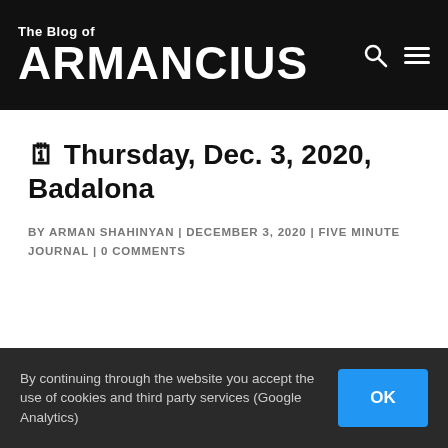The Blog of ARMANCIUS
🗓 Thursday, Dec. 3, 2020, Badalona
BY ARMAN SHAHINYAN | DECEMBER 3, 2020 | FIVE MINUTE JOURNAL | 0 COMMENTS
By continuing through the website you accept the use of cookies and third party services (Google Analytics)